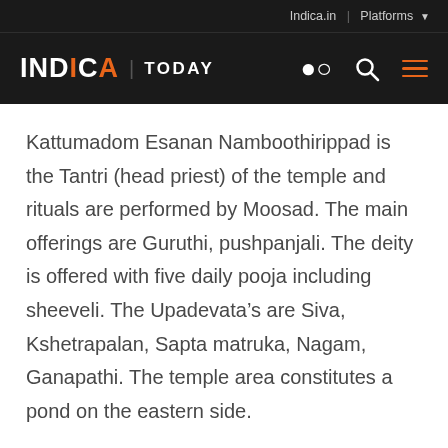Indica.in | Platforms
INDICA | TODAY
Kattumadom Esanan Namboothirippad is the Tantri (head priest) of the temple and rituals are performed by Moosad. The main offerings are Guruthi, pushpanjali. The deity is offered with five daily pooja including sheeveli. The Upadevata’s are Siva, Kshetrapalan, Sapta matruka, Nagam, Ganapathi. The temple area constitutes a pond on the eastern side.